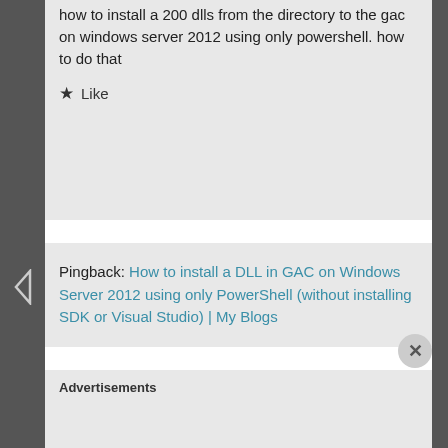how to install a 200 dlls from the directory to the gac on windows server 2012 using only powershell. how to do that
★ Like
Pingback: How to install a DLL in GAC on Windows Server 2012 using only PowerShell (without installing SDK or Visual Studio) | My Blogs
Leave a Reply
Your email address will not be published. Required fields are marked
Advertisements